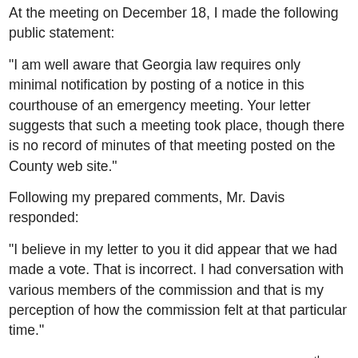At the meeting on December 18, I made the following public statement:
"I am well aware that Georgia law requires only minimal notification by posting of a notice in this courthouse of an emergency meeting. Your letter suggests that such a meeting took place, though there is no record of minutes of that meeting posted on the County web site."
Following my prepared comments, Mr. Davis responded:
"I believe in my letter to you it did appear that we had made a vote. That is incorrect. I had conversation with various members of the commission and that is my perception of how the commission felt at that particular time."
The Georgia Water Coalition resolution was the 9th item on the 10-item agenda for the December 7 meeting. The minutes indicate the issue was discussed.
The Board of Commissioners did consider the Georgia Water